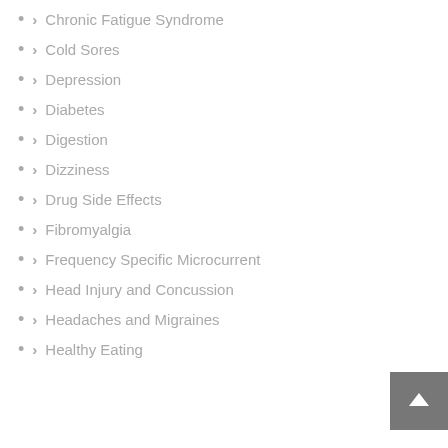Chronic Fatigue Syndrome
Cold Sores
Depression
Diabetes
Digestion
Dizziness
Drug Side Effects
Fibromyalgia
Frequency Specific Microcurrent
Head Injury and Concussion
Headaches and Migraines
Healthy Eating